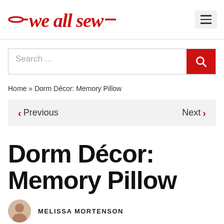we all sew
Search ...
Home » Dorm Décor: Memory Pillow
< Previous    Next >
Dorm Décor: Memory Pillow
MELISSA MORTENSON